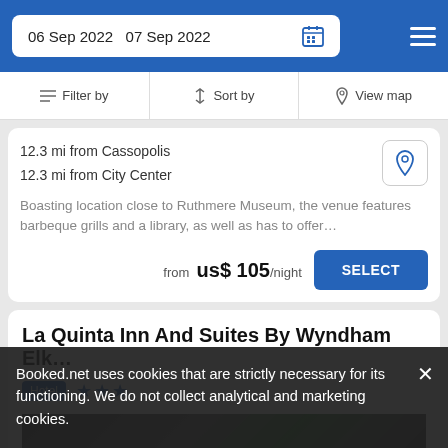06 Sep 2022   07 Sep 2022
Filter by   Sort by   View map
12.3 mi from Cassopolis
12.3 mi from City Center
Boasting location close to Ruthmere Museum, the venue features barbeque grills and a library, as well as has to offer...
from  us$ 105/night
SELECT
La Quinta Inn And Suites By Wyndham Elk…
Hotel  ★★★
Booked.net uses cookies that are strictly necessary for its functioning. We do not collect analytical and marketing cookies.